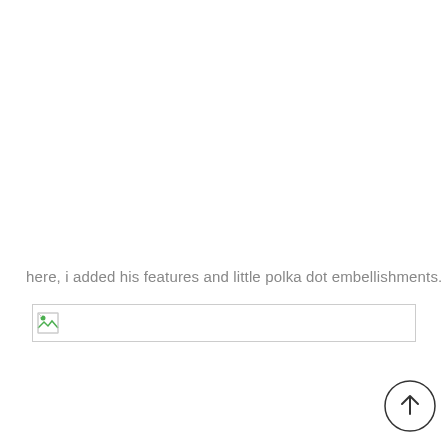here, i added his features and little polka dot embellishments.
[Figure (other): Broken image placeholder — a small broken image icon in the top-left corner of a thin bordered rectangle.]
[Figure (other): Scroll-to-top circular button with an upward arrow, positioned in the bottom-right corner.]